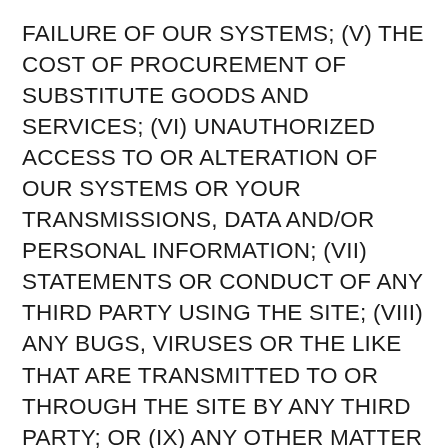FAILURE OF OUR SYSTEMS; (V) THE COST OF PROCUREMENT OF SUBSTITUTE GOODS AND SERVICES; (VI) UNAUTHORIZED ACCESS TO OR ALTERATION OF OUR SYSTEMS OR YOUR TRANSMISSIONS, DATA AND/OR PERSONAL INFORMATION; (VII) STATEMENTS OR CONDUCT OF ANY THIRD PARTY USING THE SITE; (VIII) ANY BUGS, VIRUSES OR THE LIKE THAT ARE TRANSMITTED TO OR THROUGH THE SITE BY ANY THIRD PARTY; OR (IX) ANY OTHER MATTER OR EVENT RELATING TO YOUR OR ANY OTHER PARTY'S USE OF THE SITE OR THE SERVICES. YOU ACKNOWLEDGE AND AGREE THAT IF YOU ARE DISSATISFIED WITH OR HARMED BY THE SERVICES, OR WITH ANYTHING RELATED TO THE SERVICES,